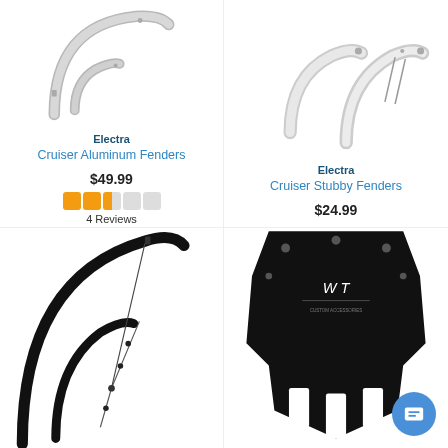[Figure (photo): Electra Cruiser Aluminum Fenders - silver/aluminum colored bicycle fenders, front and rear shown]
[Figure (photo): Electra Cruiser Stubby Fenders - chrome/silver short bicycle fenders, front and rear shown]
Electra
Cruiser Aluminum Fenders
$49.99
[Figure (other): 2.5 out of 5 stars rating shown as orange star icons]
4 Reviews
Electra
Cruiser Stubby Fenders
$24.99
[Figure (photo): Black bicycle fenders with stays, thin road-style fenders shown]
[Figure (photo): Black mudguard/fender panel with white stripe pattern, and a circular chat button overlay]